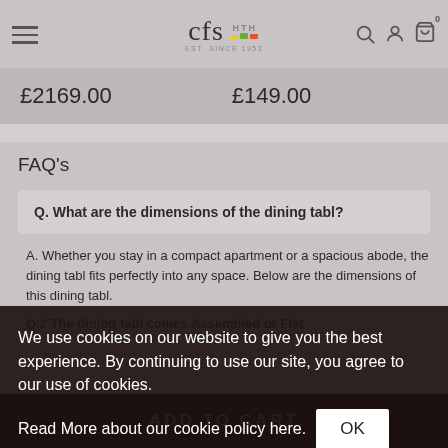CFS HTH Est. Since 1953
£2169.00   £149.00
FAQ's
Q. What are the dimensions of the dining tabl?
A. Whether you stay in a compact apartment or a spacious abode, the dining tabl fits perfectly into any space. Below are the dimensions of this dining tabl.
We use cookies on our website to give you the best experience. By continuing to use our site, you agree to our use of cookies.
Read More about our cookie policy here.
ADD TO CART